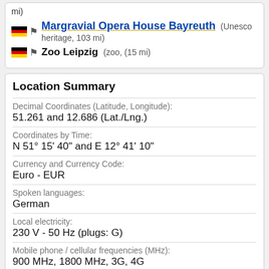mi)
Margravial Opera House Bayreuth (Unesco heritage, 103 mi)
Zoo Leipzig (zoo, (15 mi))
Location Summary
Decimal Coordinates (Latitude, Longitude):
51.261 and 12.686 (Lat./Lng.)
Coordinates by Time:
N 51° 15' 40" and E 12° 41' 10"
Currency and Currency Code:
Euro - EUR
Spoken languages:
German
Local electricity:
230 V - 50 Hz (plugs: G)
Mobile phone / cellular frequencies (MHz):
900 MHz, 1800 MHz, 3G, 4G
Local Time: 03:36 AM (Wednesday)